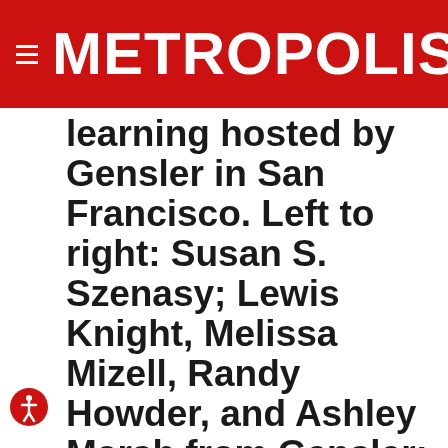METROPOLIS
learning hosted by Gensler in San Francisco. Left to right: Susan S. Szenasy; Lewis Knight, Melissa Mizell, Randy Howder, and Ashley Marsh from Gensler; Nathan Shedroff from